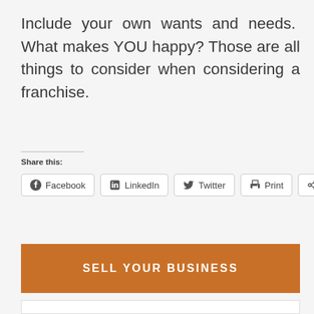Include your own wants and needs. What makes YOU happy? Those are all things to consider when considering a franchise.
Share this:
[Figure (other): Social share buttons: Facebook, LinkedIn, Twitter, Print, More]
[Figure (other): Orange banner with text SELL YOUR BUSINESS]
[Figure (other): White form box at bottom of page, partially visible]